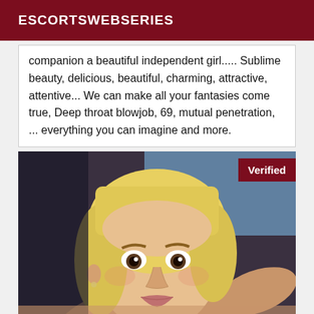ESCORTSWEBSERIES
companion a beautiful independent girl..... Sublime beauty, delicious, beautiful, charming, attractive, attentive... We can make all your fantasies come true, Deep throat blowjob, 69, mutual penetration, ... everything you can imagine and more.
[Figure (photo): Close-up portrait photo of a blonde woman with dark eyes, verified escort listing image. A dark red 'Verified' badge appears in the top-right corner of the image.]